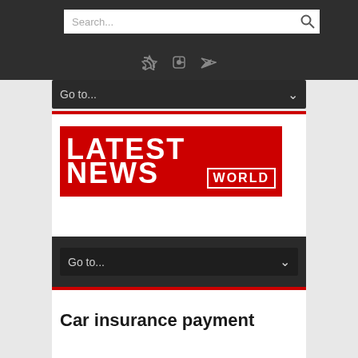Search...
[Figure (logo): Latest News World logo — red background with white bold text LATEST NEWS and WORLD in outlined box]
Go to...
Car insurance payment